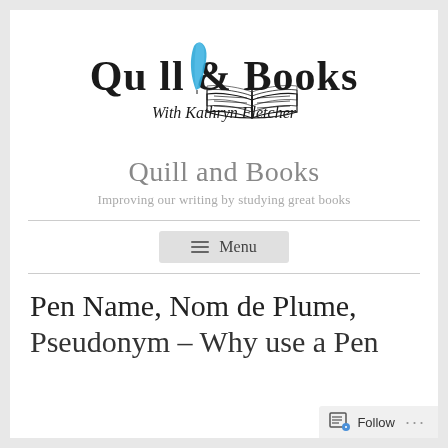[Figure (logo): Quill & Books logo with a blue quill pen through the letters, 'With Kathryn Fletcher' in script, and an open book illustration]
Quill and Books
Improving our writing by studying great books
☰ Menu
Pen Name, Nom de Plume, Pseudonym – Why use a Pen